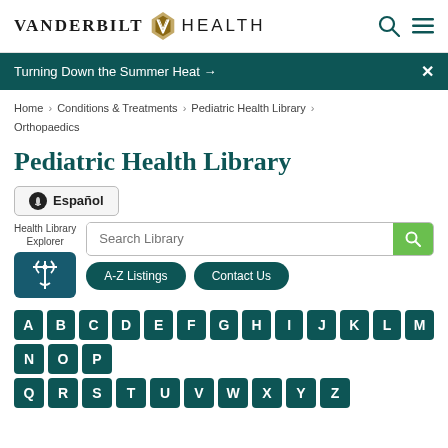VANDERBILT HEALTH
Turning Down the Summer Heat →
Home › Conditions & Treatments › Pediatric Health Library › Orthopaedics
Pediatric Health Library
Español
Health Library Explorer
Search Library
A-Z Listings  Contact Us
A B C D E F G H I J K L M N O P Q R S T U V W X Y Z